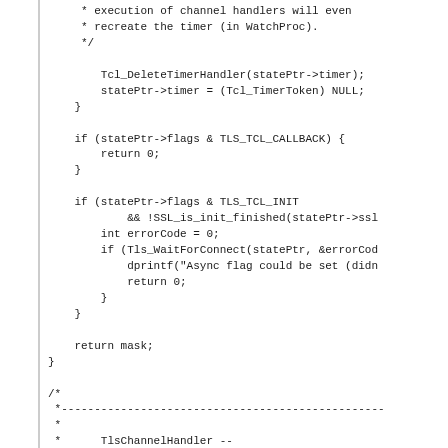Code snippet showing C source code with timer handler deletion, callback checks, SSL init check, WaitForConnect call, return mask, and TlsChannelHandler comment block.